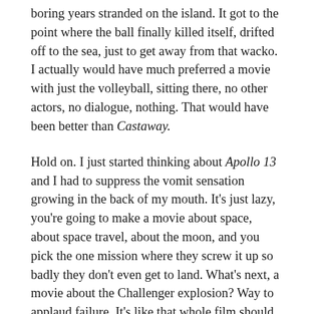boring years stranded on the island. It got to the point where the ball finally killed itself, drifted off to the sea, just to get away from that wacko. I actually would have much preferred a movie with just the volleyball, sitting there, no other actors, no dialogue, nothing. That would have been better than Castaway.
Hold on. I just started thinking about Apollo 13 and I had to suppress the vomit sensation growing in the back of my mouth. It's just lazy, you're going to make a movie about space, about space travel, about the moon, and you pick the one mission where they screw it up so badly they don't even get to land. What's next, a movie about the Challenger explosion? Way to applaud failure. It's like that whole film should have been condensed to a blooper reel that played at the end of a real movie about a space flight that actually succeeded. And why go historical? What's wrong with sci-fi? I probably would've much rather just seen another Star Trek movie. Is it too late to call up the movie theater and demand